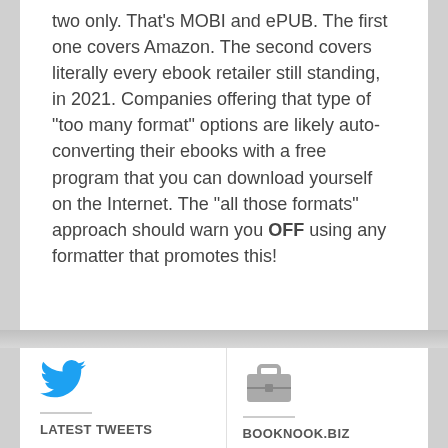two only. That's MOBI and ePUB.  The first one covers Amazon.  The second covers literally every ebook retailer still standing, in 2021.  Companies offering that type of "too many format" options are likely auto-converting their ebooks with a free program that you can download yourself on the Internet.  The "all those formats" approach should warn you OFF using any formatter that promotes this!
[Figure (logo): Twitter bird logo in blue]
LATEST TWEETS
@penguinrandom not to be snarky, but is it
[Figure (logo): Briefcase/portfolio icon in gray]
BOOKNOOK.BIZ
About Us
New Services
Recent Projects